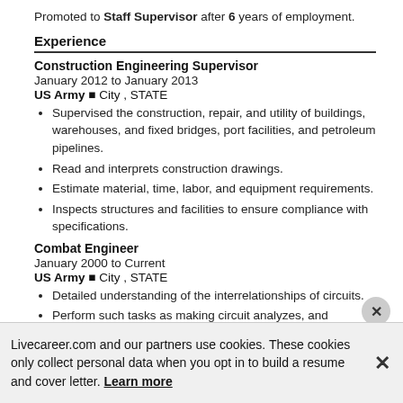Promoted to Staff Supervisor after 6 years of employment.
Experience
Construction Engineering Supervisor
January 2012 to January 2013
US Army  City , STATE
Supervised the construction, repair, and utility of buildings, warehouses, and fixed bridges, port facilities, and petroleum pipelines.
Read and interprets construction drawings.
Estimate material, time, labor, and equipment requirements.
Inspects structures and facilities to ensure compliance with specifications.
Combat Engineer
January 2000 to Current
US Army  City , STATE
Detailed understanding of the interrelationships of circuits.
Perform such tasks as making circuit analyzes, and
Livecareer.com and our partners use cookies. These cookies only collect personal data when you opt in to build a resume and cover letter. Learn more